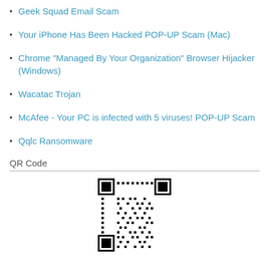Geek Squad Email Scam
Your iPhone Has Been Hacked POP-UP Scam (Mac)
Chrome "Managed By Your Organization" Browser Hijacker (Windows)
Wacatac Trojan
McAfee - Your PC is infected with 5 viruses! POP-UP Scam
Qqlc Ransomware
QR Code
[Figure (other): QR code image]